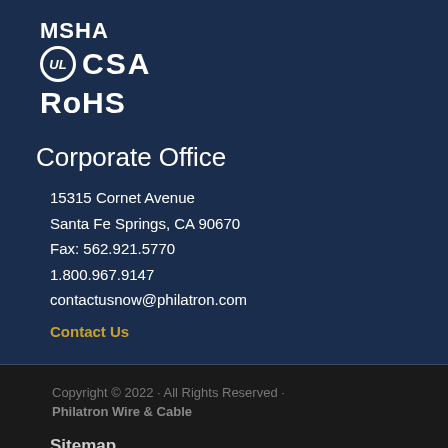[Figure (logo): MSHA, UL CSA, and RoHS certification logos in white on dark blue background]
Corporate Office
15315 Cornet Avenue
Santa Fe Springs, CA 90670
Fax: 562.921.5770
1.800.967.9147
contactusnow@philatron.com
Contact Us
Copyright © 2022 · All Rights Reserved · Philatron Wire & Cable
Sitemap
Home
Back To Top